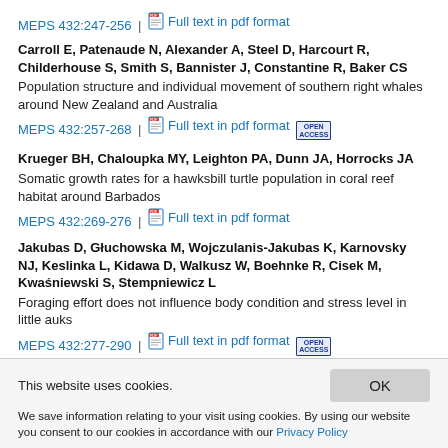MEPS 432:247-256 | Full text in pdf format
Carroll E, Patenaude N, Alexander A, Steel D, Harcourt R, Childerhouse S, Smith S, Bannister J, Constantine R, Baker CS
Population structure and individual movement of southern right whales around New Zealand and Australia
MEPS 432:257-268 | Full text in pdf format [OPEN ACCESS]
Krueger BH, Chaloupka MY, Leighton PA, Dunn JA, Horrocks JA
Somatic growth rates for a hawksbill turtle population in coral reef habitat around Barbados
MEPS 432:269-276 | Full text in pdf format
Jakubas D, Głuchowska M, Wojczulanis-Jakubas K, Karnovsky NJ, Keslinka L, Kidawa D, Walkusz W, Boehnke R, Cisek M, Kwaśniewski S, Stempniewicz L
Foraging effort does not influence body condition and stress level in little auks
MEPS 432:277-290 | Full text in pdf format [OPEN ACCESS]
This website uses cookies.
We save information relating to your visit using cookies. By using our website you consent to our cookies in accordance with our Privacy Policy